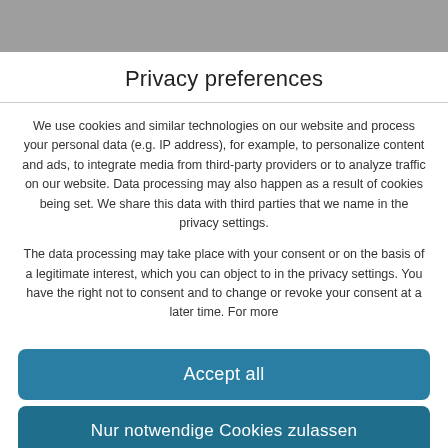Privacy preferences
We use cookies and similar technologies on our website and process your personal data (e.g. IP address), for example, to personalize content and ads, to integrate media from third-party providers or to analyze traffic on our website. Data processing may also happen as a result of cookies being set. We share this data with third parties that we name in the privacy settings.
The data processing may take place with your consent or on the basis of a legitimate interest, which you can object to in the privacy settings. You have the right not to consent and to change or revoke your consent at a later time. For more
Accept all
Nur notwendige Cookies zulassen
Set privacy settings individually
Privacy Policy · Imprint
ss Cookie Plugin by Real Cookie Banner